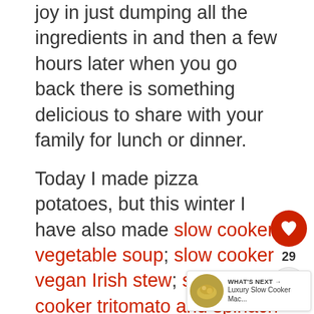joy in just dumping all the ingredients in and then a few hours later when you go back there is something delicious to share with your family for lunch or dinner.
Today I made pizza potatoes, but this winter I have also made slow cooker vegetable soup; slow cooker vegan Irish stew; slow cooker tri tomato and spinach pasta; luxury slow cooker mac and cheese which is so good it will make you cry slow cooker mulled wine with orange liqueur to name but a few